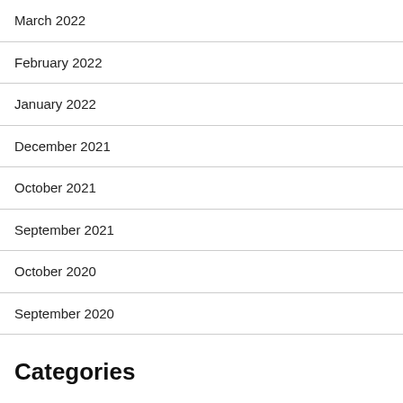March 2022
February 2022
January 2022
December 2021
October 2021
September 2021
October 2020
September 2020
Categories
Advertising & Marketing
Arts & Entertainment